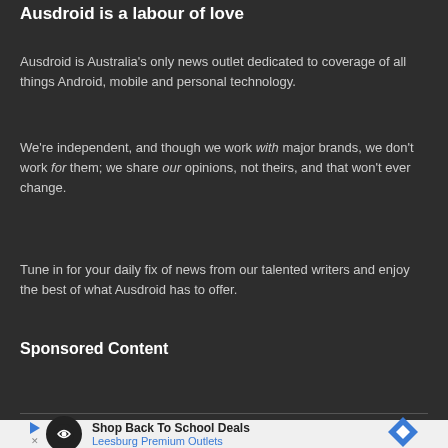Ausdroid is a labour of love
Ausdroid is Australia's only news outlet dedicated to coverage of all things Android, mobile and personal technology.
We're independent, and though we work with major brands, we don't work for them; we share our opinions, not theirs, and that won't ever change.
Tune in for your daily fix of news from our talented writers and enjoy the best of what Ausdroid has to offer.
Sponsored Content
[Figure (other): Advertisement banner for Leesburg Premium Outlets — Shop Back To School Deals]